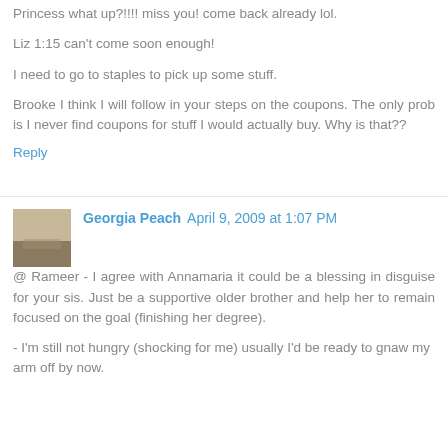Princess what up?!!!! miss you! come back already lol.
Liz 1:15 can't come soon enough!
I need to go to staples to pick up some stuff.
Brooke I think I will follow in your steps on the coupons. The only prob is I never find coupons for stuff I would actually buy. Why is that??
Reply
Georgia Peach  April 9, 2009 at 1:07 PM
@ Rameer - I agree with Annamaria it could be a blessing in disguise for your sis. Just be a supportive older brother and help her to remain focused on the goal (finishing her degree).
- I'm still not hungry (shocking for me) usually I'd be ready to gnaw my arm off by now.